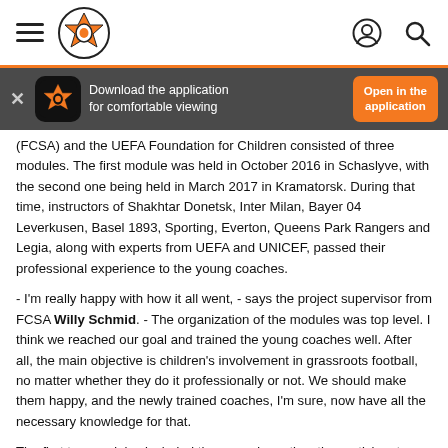Shakhtar Donetsk website header with hamburger menu, logo, user icon, and search icon
[Figure (infographic): App download banner with Shakhtar logo icon, text 'Download the application for comfortable viewing', and orange 'Open in the application' button]
(FCSA) and the UEFA Foundation for Children consisted of three modules. The first module was held in October 2016 in Schaslyve, with the second one being held in March 2017 in Kramatorsk. During that time, instructors of Shakhtar Donetsk, Inter Milan, Bayer 04 Leverkusen, Basel 1893, Sporting, Everton, Queens Park Rangers and Legia, along with experts from UEFA and UNICEF, passed their professional experience to the young coaches.
- I'm really happy with how it all went, - says the project supervisor from FCSA Willy Schmid. - The organization of the modules was top level. I think we reached our goal and trained the young coaches well. After all, the main objective is children's involvement in grassroots football, no matter whether they do it professionally or not. We should make them happy, and the newly trained coaches, I'm sure, now have all the necessary knowledge for that.
The first two modules included theory and practise, the participants studied various aspects of training kids. The final stage was a kind of exam. Over 100 pupils from the UVK in Schaslyve have attended ten different locations,